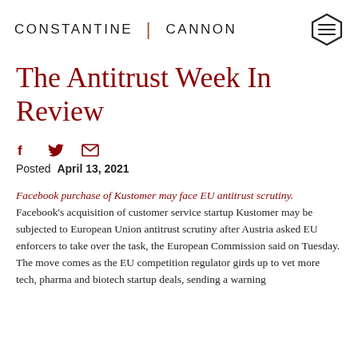CONSTANTINE | CANNON
The Antitrust Week In Review
Posted April 13, 2021
Facebook purchase of Kustomer may face EU antitrust scrutiny. Facebook's acquisition of customer service startup Kustomer may be subjected to European Union antitrust scrutiny after Austria asked EU enforcers to take over the task, the European Commission said on Tuesday. The move comes as the EU competition regulator girds up to vet more tech, pharma and biotech startup deals, sending a warning about so-called killer acquisitions after finalizing new